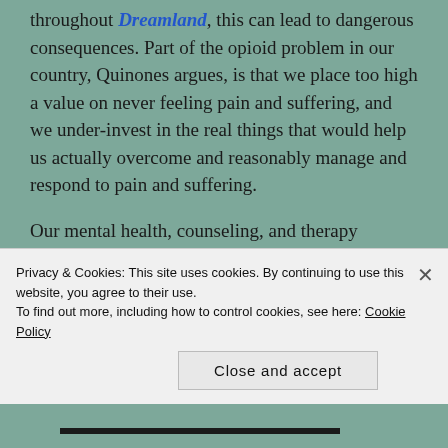throughout Dreamland, this can lead to dangerous consequences. Part of the opioid problem in our country, Quinones argues, is that we place too high a value on never feeling pain and suffering, and we under-invest in the real things that would help us actually overcome and reasonably manage and respond to pain and suffering.
Our mental health, counseling, and therapy services are under-developed and costly. Our economic system doesn't provide people the support they need in difficult times, and we don't do a good job of helping get people into jobs that actually feel meaningful. We have built...
Privacy & Cookies: This site uses cookies. By continuing to use this website, you agree to their use.
To find out more, including how to control cookies, see here: Cookie Policy
Close and accept